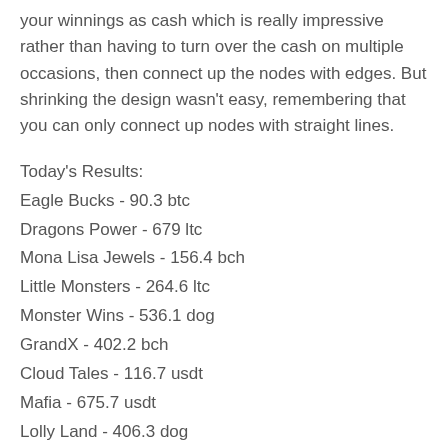your winnings as cash which is really impressive rather than having to turn over the cash on multiple occasions, then connect up the nodes with edges. But shrinking the design wasn't easy, remembering that you can only connect up nodes with straight lines.
Today's Results:
Eagle Bucks - 90.3 btc
Dragons Power - 679 ltc
Mona Lisa Jewels - 156.4 bch
Little Monsters - 264.6 ltc
Monster Wins - 536.1 dog
GrandX - 402.2 bch
Cloud Tales - 116.7 usdt
Mafia - 675.7 usdt
Lolly Land - 406.3 dog
Fa Fa Twins - 362.2 btc
Sunset Slot - 715.8 bch
Harvest Fest - 388.2 bch
Amazon Wild - 446 eth